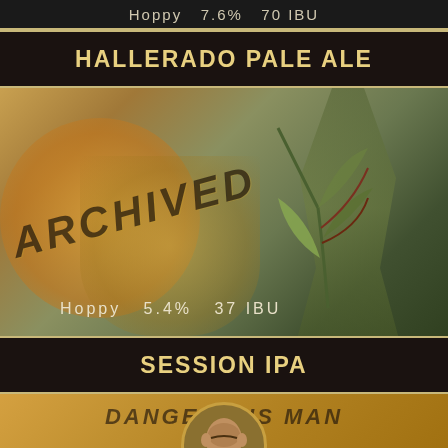Hoppy   7.6%   70 IBU
HALLERADO PALE ALE
[Figure (photo): Photo of beer glass with plant, overlaid with ARCHIVED watermark text, showing beer stats: Hoppy 5.4% 37 IBU]
Hoppy   5.4%   37 IBU
SESSION IPA
[Figure (photo): Partial photo of Dangerous Man Brewing beer glass, partially cut off at bottom of page]